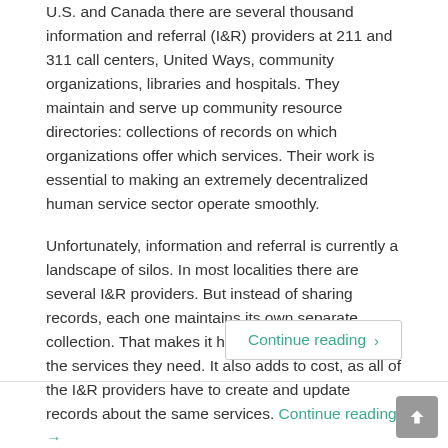U.S. and Canada there are several thousand information and referral (I&R) providers at 211 and 311 call centers, United Ways, community organizations, libraries and hospitals. They maintain and serve up community resource directories: collections of records on which organizations offer which services. Their work is essential to making an extremely decentralized human service sector operate smoothly.
Unfortunately, information and referral is currently a landscape of silos. In most localities there are several I&R providers. But instead of sharing records, each one maintains its own separate collection. That makes it harder for clients to find the services they need. It also adds to cost, as all of the I&R providers have to create and update records about the same services. Continue reading →